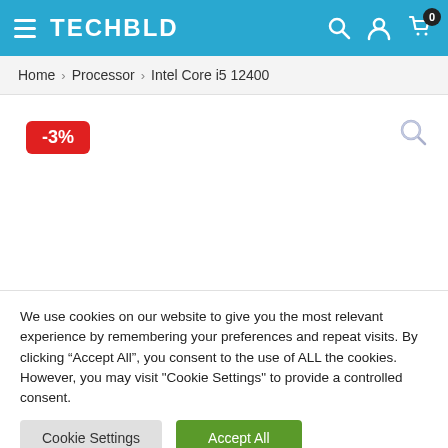TECHBLD
Home > Processor > Intel Core i5 12400
[Figure (other): Product image area with -3% discount badge and magnify icon]
We use cookies on our website to give you the most relevant experience by remembering your preferences and repeat visits. By clicking “Accept All”, you consent to the use of ALL the cookies. However, you may visit "Cookie Settings" to provide a controlled consent.
Cookie Settings | Accept All